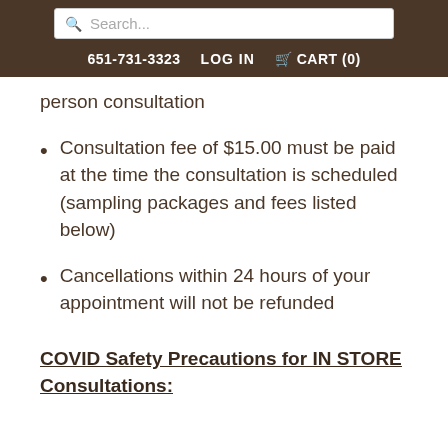Search... | 651-731-3323 | LOG IN | CART (0)
person consultation
Consultation fee of $15.00 must be paid at the time the consultation is scheduled (sampling packages and fees listed below)
Cancellations within 24 hours of your appointment will not be refunded
COVID Safety Precautions for IN STORE Consultations: